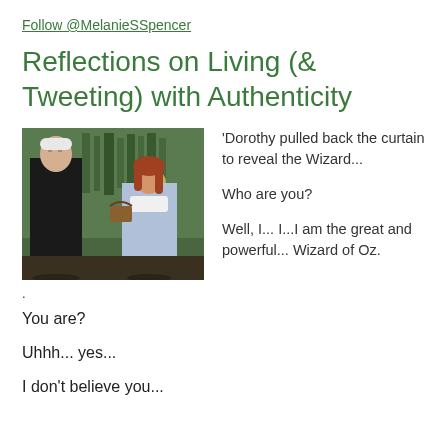Follow @MelanieSSpencer
Reflections on Living (& Tweeting) with Authenticity
[Figure (photo): Black and white scene from The Wizard of Oz showing an older man and Dorothy (with red hair) facing each other in a green-tinted room]
'Dorothy pulled back the curtain to reveal the Wizard...

Who are you?

Well, I... I...I am the great and powerful... Wizard of Oz.
.
You are?
Uhhh... yes...
I don't believe you...